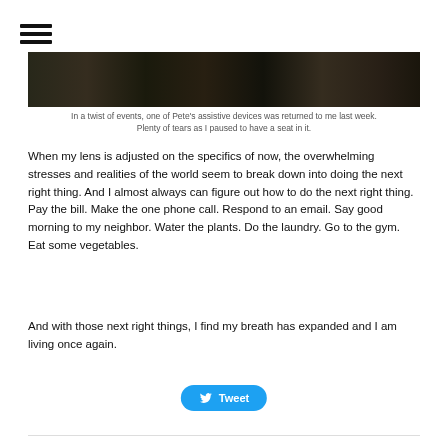[Figure (other): Hamburger menu icon (three horizontal bars)]
[Figure (photo): A dark, close-up image strip showing textured surfaces, partially cropped at the top of the content area]
In a twist of events, one of Pete's assistive devices was returned to me last week. Plenty of tears as I paused to have a seat in it.
When my lens is adjusted on the specifics of now, the overwhelming stresses and realities of the world seem to break down into doing the next right thing. And I almost always can figure out how to do the next right thing. Pay the bill. Make the one phone call. Respond to an email. Say good morning to my neighbor. Water the plants. Do the laundry. Go to the gym. Eat some vegetables.
And with those next right things, I find my breath has expanded and I am living once again.
[Figure (other): Tweet button with Twitter bird icon]